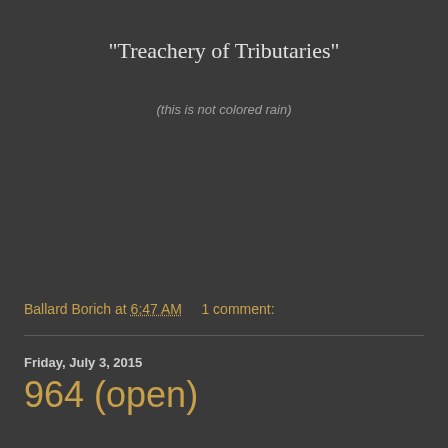"Treachery of Tributaries"
(this is not colored rain)
Ballard Borich at 6:47 AM    1 comment:
Friday, July 3, 2015
964 (open)